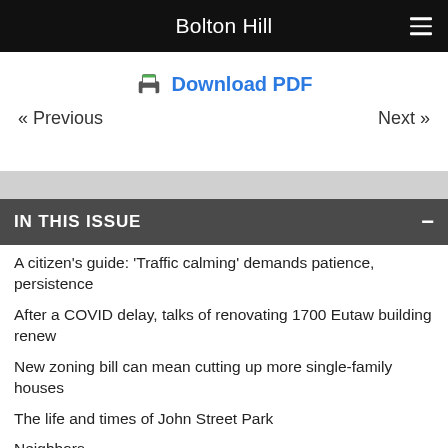Bolton Hill
Download PDF
« Previous    Next »
IN THIS ISSUE
A citizen's guide: 'Traffic calming' demands patience, persistence
After a COVID delay, talks of renovating 1700 Eutaw building renew
New zoning bill can mean cutting up more single-family houses
The life and times of John Street Park
Neighbors
Unicorns with a Cause planning March 2 community…